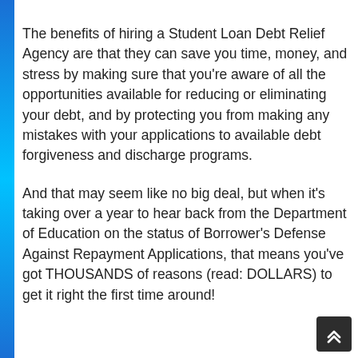The benefits of hiring a Student Loan Debt Relief Agency are that they can save you time, money, and stress by making sure that you're aware of all the opportunities available for reducing or eliminating your debt, and by protecting you from making any mistakes with your applications to available debt forgiveness and discharge programs.
And that may seem like no big deal, but when it's taking over a year to hear back from the Department of Education on the status of Borrower's Defense Against Repayment Applications, that means you've got THOUSANDS of reasons (read: DOLLARS) to get it right the first time around!